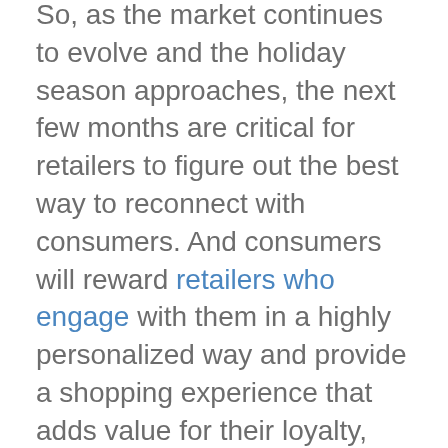So, as the market continues to evolve and the holiday season approaches, the next few months are critical for retailers to figure out the best way to reconnect with consumers. And consumers will reward retailers who engage with them in a highly personalized way and provide a shopping experience that adds value for their loyalty, even when times get tough.
Below, we'll walk you through the many benefits of a retail loyalty program, along with some goals and dos & don'ts to consider when designing a loyalty program that will carry your brand through the pandemic and beyond.